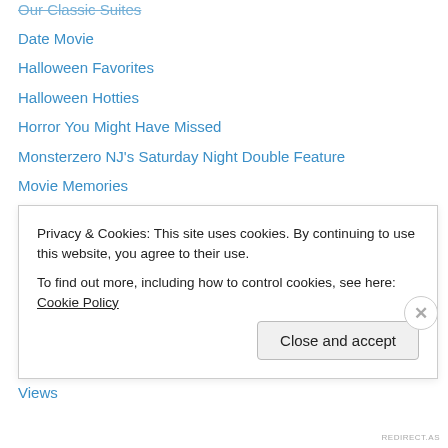Our Classic Suites
Date Movie
Halloween Favorites
Halloween Hotties
Horror You Might Have Missed
Monsterzero NJ's Saturday Night Double Feature
Movie Memories
MZNJ Faux Poster Art
News
random nonsense
Reviews
Saturday Matinee
Tomb Of Nostalgia
Views
Privacy & Cookies: This site uses cookies. By continuing to use this website, you agree to their use.
To find out more, including how to control cookies, see here: Cookie Policy